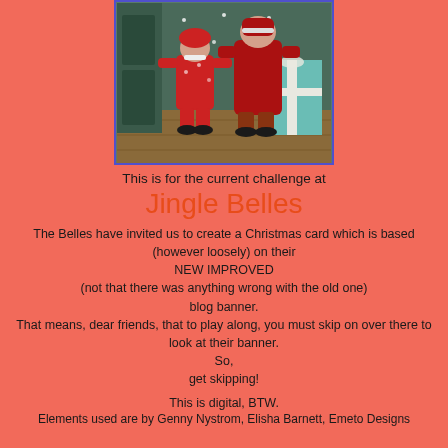[Figure (illustration): Vintage Christmas illustration showing two children in red winter coats with snow, standing near a door and a wrapped gift box, framed with a blue/purple border]
This is for the current challenge at
Jingle Belles
The Belles have invited us to create a Christmas card which is based (however loosely) on their
NEW IMPROVED
(not that there was anything wrong with the old one)
blog banner.
That means, dear friends, that to play along, you must skip on over there to look at their banner.
So,
get skipping!
This is digital, BTW.
Elements used are by Genny Nystrom, Elisha Barnett, Emeto Designs